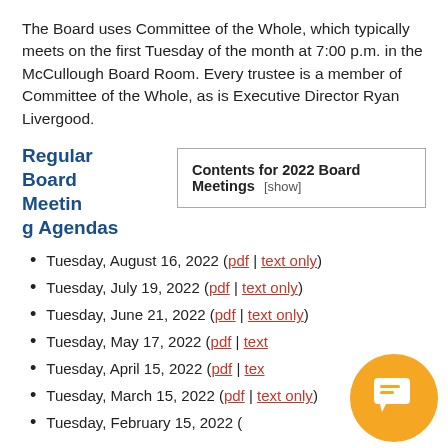The Board uses Committee of the Whole, which typically meets on the first Tuesday of the month at 7:00 p.m. in the McCullough Board Room. Every trustee is a member of Committee of the Whole, as is Executive Director Ryan Livergood.
Regular Board Meeting Agendas
| Contents for 2022 Board Meetings [show] |
| --- |
Tuesday, August 16, 2022 (pdf | text only)
Tuesday, July 19, 2022 (pdf | text only)
Tuesday, June 21, 2022 (pdf | text only)
Tuesday, May 17, 2022 (pdf | text only)
Tuesday, April 15, 2022 (pdf | text only)
Tuesday, March 15, 2022 (pdf | text only)
Tuesday, February 15, 2022 (pdf | text only)